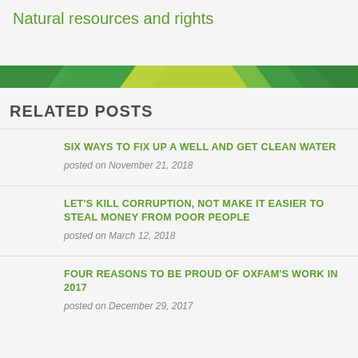Natural resources and rights
[Figure (illustration): Decorative banner with green, yellow, and green geometric shapes on a dark green background]
RELATED POSTS
SIX WAYS TO FIX UP A WELL AND GET CLEAN WATER
posted on November 21, 2018
LET'S KILL CORRUPTION, NOT MAKE IT EASIER TO STEAL MONEY FROM POOR PEOPLE
posted on March 12, 2018
FOUR REASONS TO BE PROUD OF OXFAM'S WORK IN 2017
posted on December 29, 2017